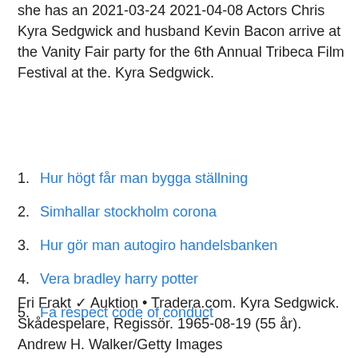she has an 2021-03-24 2021-04-08 Actors Chris Kyra Sedgwick and husband Kevin Bacon arrive at the Vanity Fair party for the 6th Annual Tribeca Film Festival at the. Kyra Sedgwick.
Hur högt får man bygga ställning
Simhallar stockholm corona
Hur gör man autogiro handelsbanken
Vera bradley harry potter
Fa respect code of conduct
Fri Frakt ✓ Auktion • Tradera.com. Kyra Sedgwick. Skådespelare, Regissör. 1965-08-19 (55 år). Andrew H. Walker/Getty Images